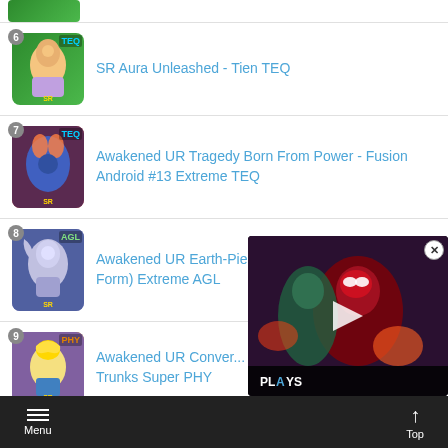SR Aura Unleashed - Tien TEQ
Awakened UR Tragedy Born From Power - Fusion Android #13 Extreme TEQ
Awakened UR Earth-Piercing Light - Frieza (Final Form) Extreme AGL
Awakened UR Conver... Trunks Super PHY
Awakened SR Conside... Captain Ginyu Extrem...
[Figure (screenshot): Video overlay showing a Spider-Man game scene with play button and PLAYS branding]